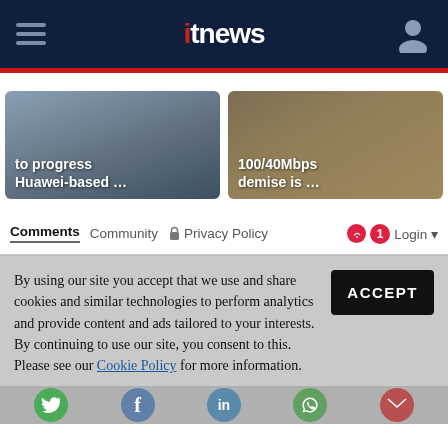itnews
[Figure (screenshot): Two article teaser cards side by side: left card reads 'to progress Huawei-based …', right card reads '100/40Mbps demise is …']
Comments   Community   🔒 Privacy Policy   1   Login
By using our site you accept that we use and share cookies and similar technologies to perform analytics and provide content and ads tailored to your interests. By continuing to use our site, you consent to this. Please see our Cookie Policy for more information.